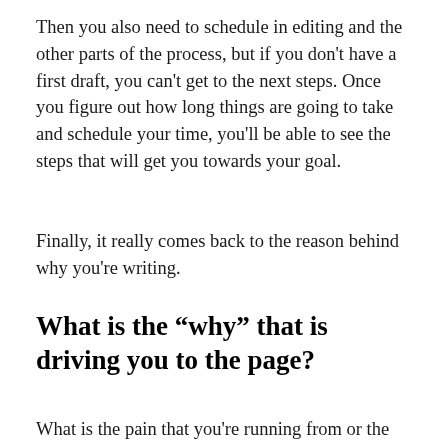Then you also need to schedule in editing and the other parts of the process, but if you don't have a first draft, you can't get to the next steps. Once you figure out how long things are going to take and schedule your time, you'll be able to see the steps that will get you towards your goal.
Finally, it really comes back to the reason behind why you're writing.
What is the “why” that is driving you to the page?
What is the pain that you're running from or the